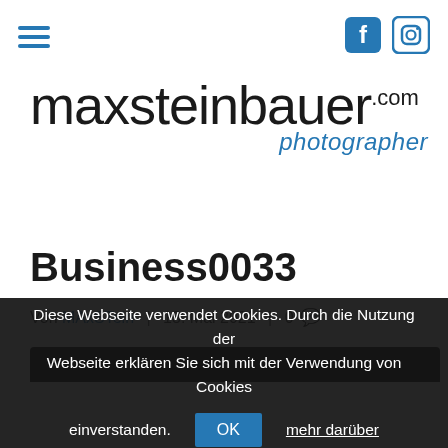[Figure (logo): Navigation bar with hamburger menu icon (three blue horizontal lines) on the left, and Facebook and Instagram icons on the right]
[Figure (logo): maxsteinbauer.com photographer logo — large dark serif-style text 'maxsteinbauer' with '.com' superscript, and 'photographer' in blue italic below]
Business0033
Von MAxSTein | 13. Mai 2021 | 0 [comment]
[Figure (photo): Dark strip at top of a photograph (partially visible)]
Diese Webseite verwendet Cookies. Durch die Nutzung der Webseite erklären Sie sich mit der Verwendung von Cookies einverstanden. OK  mehr darüber